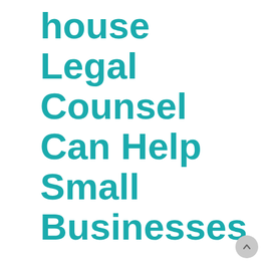house Legal Counsel Can Help Small Businesses